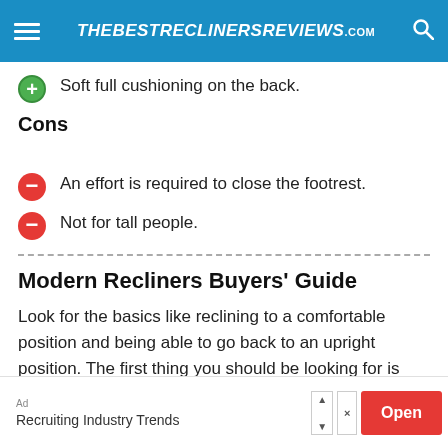THEBESTRECLINERSREVIEWS.com
Soft full cushioning on the back.
Cons
An effort is required to close the footrest.
Not for tall people.
Modern Recliners Buyers' Guide
Look for the basics like reclining to a comfortable position and being able to go back to an upright position. The first thing you should be looking for is
[Figure (other): Advertisement banner with 'Recruiting Industry Trends' text and red Open button]